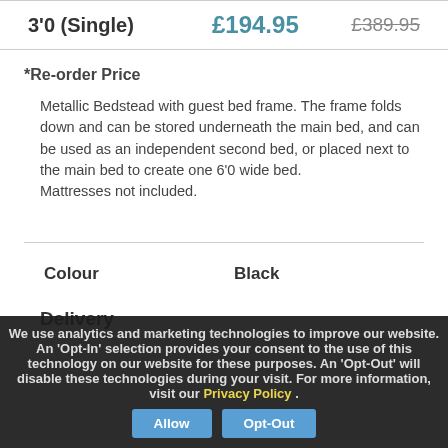| Size | Price | Was |
| --- | --- | --- |
| 3'0 (Single) | £194.95 | £389.95 |
*Re-order Price
Metallic Bedstead with guest bed frame. The frame folds down and can be stored underneath the main bed, and can be used as an independent second bed, or placed next to the main bed to create one 6'0 wide bed. Mattresses not included.
| Colour |  |
| --- | --- |
| Colour | Black |
Delivery
We use analytics and marketing technologies to improve our website. An 'Opt-In' selection provides your consent to the use of this technology on our website for these purposes. An 'Opt-Out' will disable these technologies during your visit. For more information, visit our Privacy Policy .